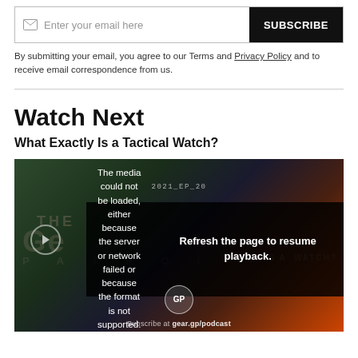Enter your email here  SUBSCRIBE
By submitting your email, you agree to our Terms and Privacy Policy and to receive email correspondence from us.
Watch Next
What Exactly Is a Tactical Watch?
[Figure (screenshot): Video player showing episode 2021_EP_20. A media error overlay reads: 'The media could not be loaded, either because the server or network failed or because the format is not supported.' with a 'Refresh the page to resume playback.' prompt. Background shows branded gradient with Gear Patrol podcast branding. A GP circle logo and 'Subscribe at gear.gp/podcast' text appear at the bottom.]